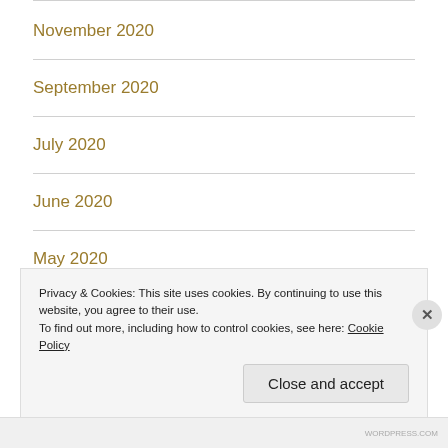November 2020
September 2020
July 2020
June 2020
May 2020
April 2020
Privacy & Cookies: This site uses cookies. By continuing to use this website, you agree to their use.
To find out more, including how to control cookies, see here: Cookie Policy
Close and accept